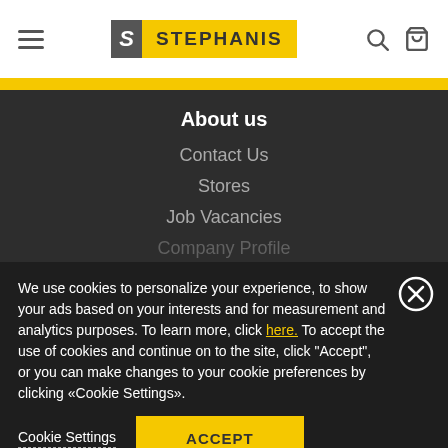[Figure (logo): Stephanis logo with grey S box and yellow STEPHANIS text box]
About us
Contact Us
Stores
Job Vacancies
Company Profile
We use cookies to personalize your experience, to show your ads based on your interests and for measurement and analytics purposes. To learn more, click here. To accept the use of cookies and continue on to the site, click "Accept", or you can make changes to your cookie preferences by clicking «Cookie Settings».
Cookie Settings
ACCEPT